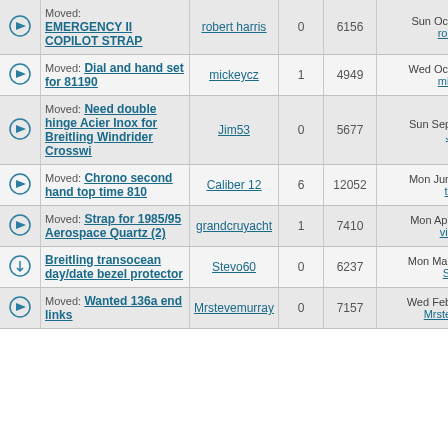|  | Topic | Author | Replies | Views | Last Post |
| --- | --- | --- | --- | --- | --- |
| → | Moved: EMERGENCY II COPILOT STRAP | robert harris | 0 | 6156 | Sun Oct 21, 2018 robert harris |
| → | Moved: Dial and hand set for 81190 | mickeycz | 1 | 4949 | Wed Oct 31, 2018 mickeycz → |
| → | Moved: Need double hinge Acier Inox for Breitling Windrider Crosswi | Jim53 | 0 | 5677 | Sun Sep 23, 2018 Jim53 →D |
| → | Moved: Chrono second hand top time 810 | Caliber 12 | 6 | 12052 | Mon Jun 11, 2018 tickswift → |
| → | Moved: Strap for 1985/95 Aerospace Quartz (2) | grandcruyacht | 1 | 7410 | Mon Apr 02, 2018 vintage →D |
| ○ | Breitling transocean day/date bezel protector | Stevo60 | 0 | 6237 | Mon Mar 26, 2018 Stevo60 → |
| → | Moved: Wanted 136a end links | Mrstevemurray | 0 | 7157 | Wed Feb 21, 2018 Mrstevemurray |